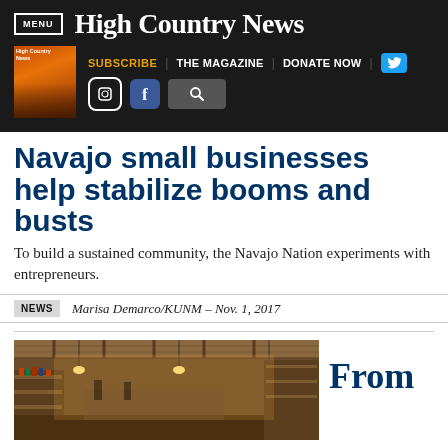MENU | High Country News
[Figure (screenshot): High Country News website navigation bar with magazine cover thumbnail, Subscribe, The Magazine, Donate Now links, Twitter, Instagram, Facebook icons, and search icon]
Navajo small businesses help stabilize booms and busts
To build a sustained community, the Navajo Nation experiments with entrepreneurs.
NEWS   Marisa Demarco/KUNM – Nov. 1, 2017
[Figure (photo): Interior of a small shop or trading post with shelves of merchandise, warm lighting from hanging fixtures, and a long wooden ceiling]
From